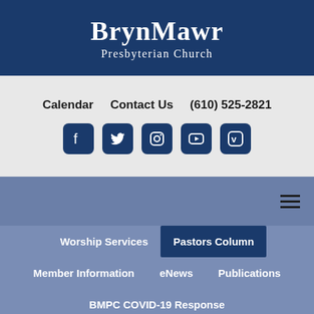BrynMawr Presbyterian Church
Calendar   Contact Us   (610) 525-2821
[Figure (infographic): Social media icons: Facebook, Twitter, Instagram, YouTube, Vimeo]
[Figure (infographic): Hamburger menu icon (three horizontal lines)]
Worship Services   Pastors Column
Member Information   eNews   Publications
BMPC COVID-19 Response
Home / Resources / Pastors Column / Partnering in Syria and Lebanon